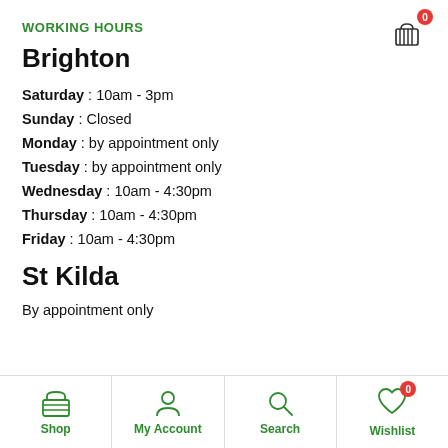WORKING HOURS
Brighton
Saturday : 10am - 3pm
Sunday : Closed
Monday : by appointment only
Tuesday : by appointment only
Wednesday : 10am - 4:30pm
Thursday : 10am - 4:30pm
Friday : 10am - 4:30pm
St Kilda
By appointment only
Shop | My Account | Search | Wishlist